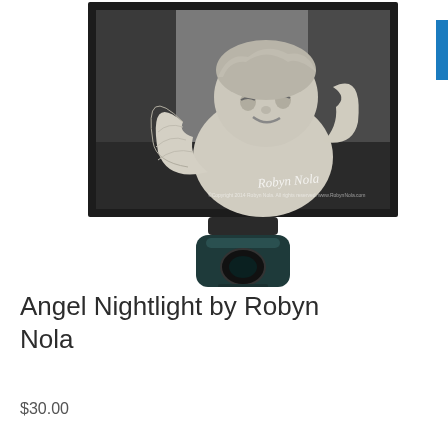[Figure (photo): A nightlight product featuring a black-and-white photo of a cherub/angel stone sculpture with wings, smiling face. The photo is mounted in a dark frame, with the nightlight plug (dark teal/black cylinder) visible below. A blue bar is partially visible on the right edge of the image.]
Angel Nightlight by Robyn Nola
$30.00